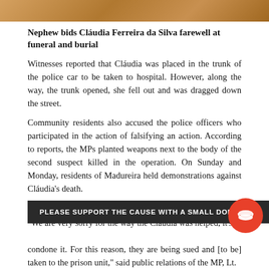[Figure (photo): Top portion of a photo, showing warm-toned background (appears to be a funeral/burial scene)]
Nephew bids Cláudia Ferreira da Silva farewell at funeral and burial
Witnesses reported that Cláudia was placed in the trunk of the police car to be taken to hospital. However, along the way, the trunk opened, she fell out and was dragged down the street.
Community residents also accused the police officers who participated in the action of falsifying an action. According to reports, the MPs planted weapons next to the body of the second suspect killed in the operation. On Sunday and Monday, residents of Madureira held demonstrations against Cláudia's death.
MP reaction
“We are very sorry for the way the Cláudia was helped, it’s a [...]  condone it. For this reason, they are being sued and [to be] taken to the prison unit,” said public relations of the MP, Lt.